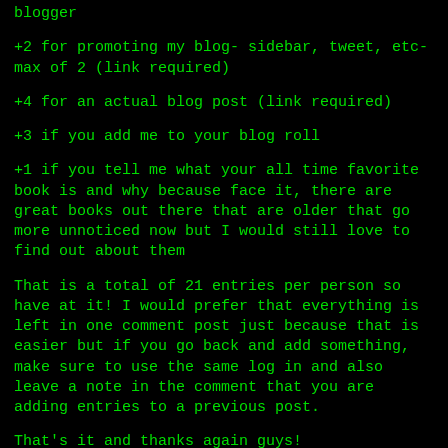blogger
+2 for promoting my blog- sidebar, tweet, etc- max of 2 (link required)
+4 for an actual blog post (link required)
+3 if you add me to your blog roll
+1 if you tell me what your all time favorite book is and why because face it, there are great books out there that are older that go more unnoticed now but I would still love to find out about them
That is a total of 21 entries per person so have at it! I would prefer that everything is left in one comment post just because that is easier but if you go back and add something, make sure to use the same log in and also leave a note in the comment that you are adding entries to a previous post.
That's it and thanks again guys!